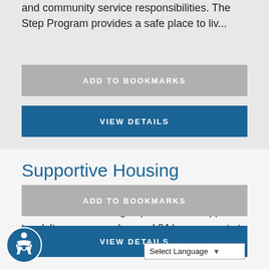and community service responsibilities. The Step Program provides a safe place to liv...
ADD TO BOOKMARKS
VIEW DETAILS
Supportive Housing
AGENCY: THE UNITED ARC
The United Arc offers group residential supports to adult consumers who need 24 hour support at all stages and conditions of adult life.
ADD TO BOOKMARKS
VIEW DETAILS